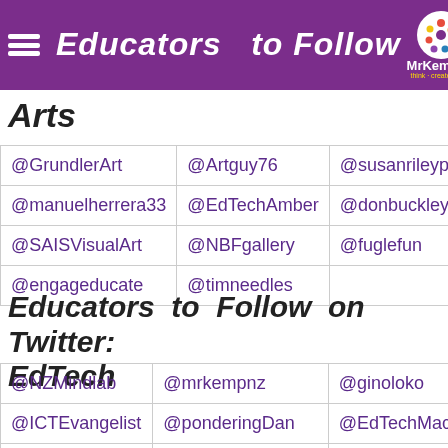Educators to Follow on Twitter: Arts
Arts
| @GrundlerArt | @Artguy76 | @susanrileyphoto | @… |
| @manuelherrera33 | @EdTechAmber | @donbuckley | @… |
| @SAISVisualArt | @NBFgallery | @fuglefun | @… |
| @engageducate | @timneedles |  |  |
Educators to Follow on Twitter: EdTech
| @NZMindlab | @mrkempnz | @ginoloko | @… |
| @ICTEvangelist | @ponderingDan | @EdTechMac | @… |
| @JenniferNKing | @TheRealMrHeino | @ATorrens84 | @… |
| @Sean4d | @EdTechNerd | @EdTechAmber | @… |